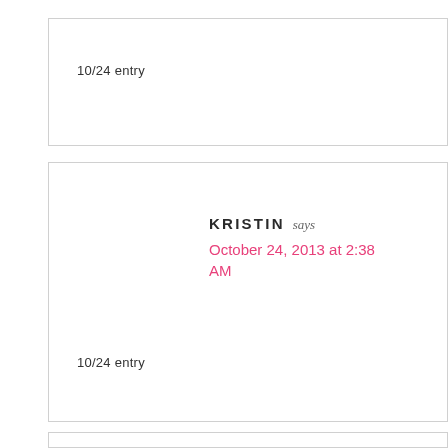10/24 entry
KRISTIN says
October 24, 2013 at 2:38 AM
10/24 entry